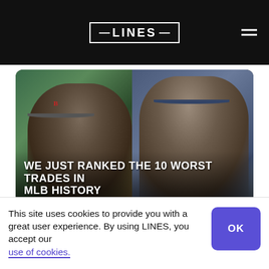LINES
[Figure (photo): Article card showing two MLB players — left: a Red Sox pitcher, right: a Mariners pitcher with long hair and mustache wearing dark cap. White text overlay reads: WE JUST RANKED THE 10 WORST TRADES IN MLB HISTORY]
WE JUST RANKED THE 10 WORST TRADES IN MLB HISTORY
[Figure (photo): Article card showing an MLB batter holding a bat raised, with a ball visible in the background, dark stadium lighting]
This site uses cookies to provide you with a great user experience. By using LINES, you accept our use of cookies.